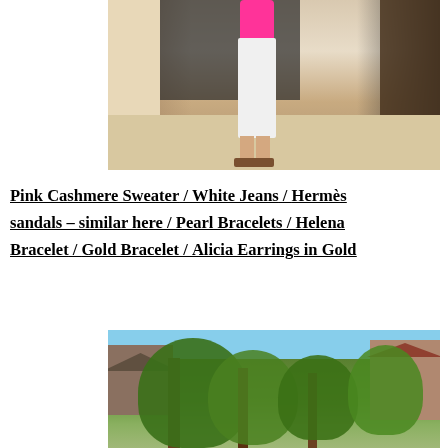[Figure (photo): Photo of person from waist down wearing a pink cashmere sweater, white jeans, and brown Hermès-style sandals, standing outdoors on a stone surface with a metal gate/fence and wall in the background.]
Pink Cashmere Sweater / White Jeans / Hermès sandals – similar here / Pearl Bracelets / Helena Bracelet / Gold Bracelet / Alicia Earrings in Gold
[Figure (photo): Photo of an outdoor scene with tall aspen or birch trees with green leaves in the foreground, and mountain-style residential buildings with brown/grey roofs visible in the background against a blue sky.]